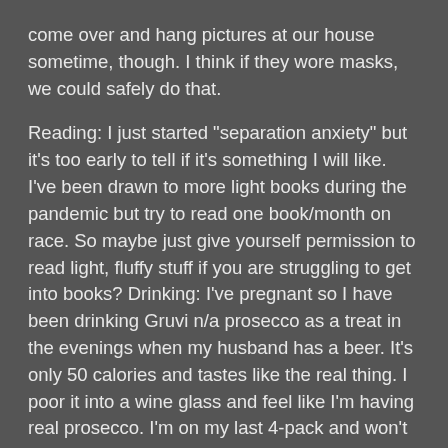come over and hang pictures at our house sometime, though. I think if they wore masks, we could safely do that.
Reading: I just started "separation anxiety" but it's too early to tell if it's something I will like. I've been drawn to more light books during the pandemic but try to read one book/month on race. So maybe just give yourself permission to read light, fluffy stuff if you are struggling to get into books? Drinking: I've pregnant so I have been drinking Gruvi n/a prosecco as a treat in the evenings when my husband has a beer. It's only 50 calories and tastes like the real thing. I poor it into a wine glass and feel like I'm having real prosecco. I'm on my last 4-pack and won't be reordering it because I know I'm going to end up with gestational diabetes due to being on prednisone (which raises your blood sugar). But I'm thoroughly enjoying this